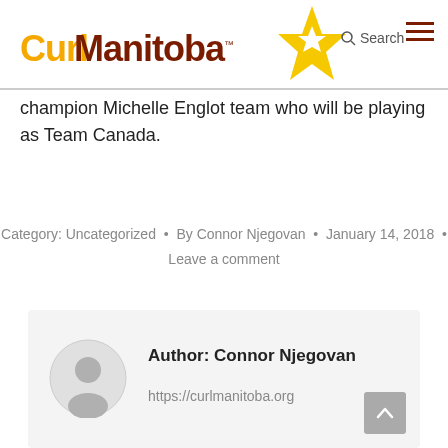CurlManitoba™
champion Michelle Englot team who will be playing as Team Canada.
Category: Uncategorized · By Connor Njegovan · January 14, 2018 · Leave a comment
Author: Connor Njegovan
https://curlmanitoba.org